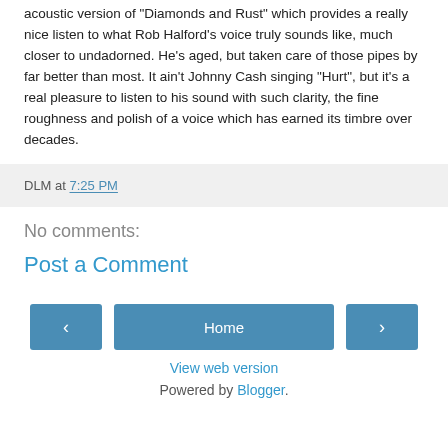acoustic version of “Diamonds and Rust” which provides a really nice listen to what Rob Halford’s voice truly sounds like, much closer to undadorned. He’s aged, but taken care of those pipes by far better than most. It ain’t Johnny Cash singing “Hurt”, but it’s a real pleasure to listen to his sound with such clarity, the fine roughness and polish of a voice which has earned its timbre over decades.
DLM at 7:25 PM
No comments:
Post a Comment
‹
Home
›
View web version
Powered by Blogger.